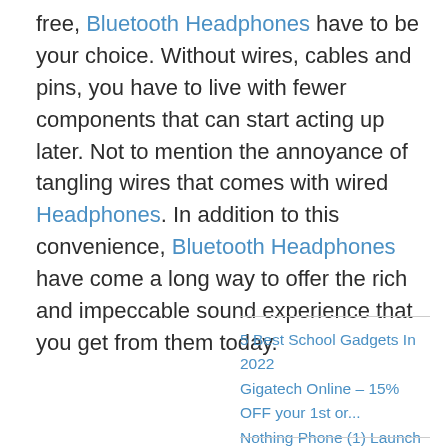free, Bluetooth Headphones have to be your choice. Without wires, cables and pins, you have to live with fewer components that can start acting up later. Not to mention the annoyance of tangling wires that comes with wired Headphones. In addition to this convenience, Bluetooth Headphones have come a long way to offer the rich and impeccable sound experience that you get from them today.
5 Best School Gadgets In 2022
Gigatech Online – 15% OFF your 1st or...
Nothing Phone (1) Launch on 6/9 at 4:...
Hearing Screening for Babies
4 Job Interview Tips: How to Make a G...